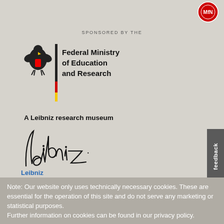[Figure (logo): Small circular logo/seal in top right corner]
SPONSORED BY THE
[Figure (logo): Federal Ministry of Education and Research logo with German eagle and tricolor divider bar (black, red, yellow), text reads: Federal Ministry of Education and Research]
A Leibniz research museum
[Figure (logo): Leibniz Association logo with cursive signature-style text and 'Leibniz Association' in blue below]
feedback
Note: Our website only uses technically necessary cookies. These are essential for the operation of this site and do not serve any marketing or statistical purposes.
Further information on cookies can be found in our privacy policy.